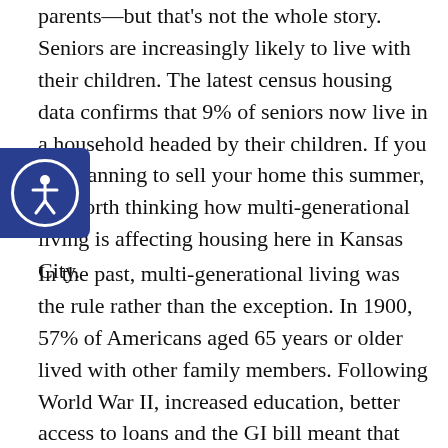parents—but that's not the whole story. Seniors are increasingly likely to live with their children. The latest census housing data confirms that 9% of seniors now live in a household headed by their children. If you are planning to sell your home this summer, it's worth thinking how multi-generational living is affecting housing here in Kansas City.
In the past, multi-generational living was the rule rather than the exception. In 1900, 57% of Americans aged 65 years or older lived with other family members. Following World War II, increased education, better access to loans and the GI bill meant that more young adults could buy homes. At the same time, older adults benefited from social security and medical care which let them live longer independently. By 1990, only 17% of people aged 65 years or older lived with their families.